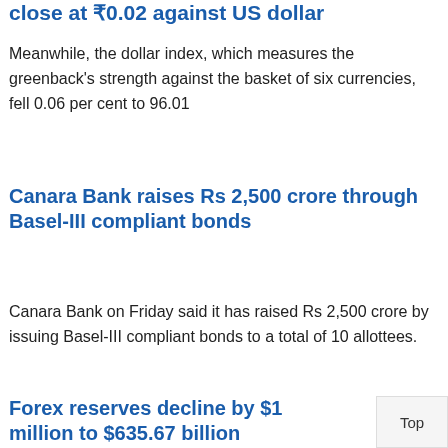close at ₹0.02 against US dollar
Meanwhile, the dollar index, which measures the greenback's strength against the basket of six currencies, fell 0.06 per cent to 96.01
Canara Bank raises Rs 2,500 crore through Basel-III compliant bonds
Canara Bank on Friday said it has raised Rs 2,500 crore by issuing Basel-III compliant bonds to a total of 10 allottees.
Forex reserves decline by $1... million to $635.67 billion